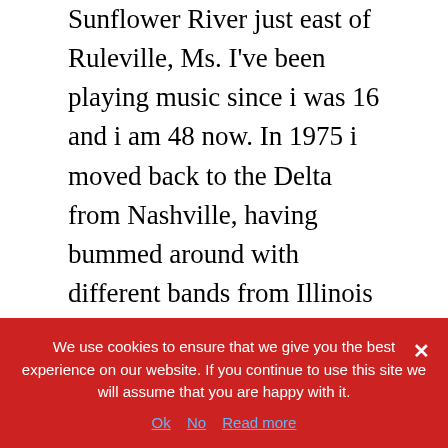Sunflower River just east of Ruleville, Ms. I've been playing music since i was 16 and i am 48 now. In 1975 i moved back to the Delta from Nashville, having bummed around with different bands from Illinois to Memphis, making little or no money–of course- but making what i now consider  treasured friendships with a few lone pickers and paying some dues.  Coming back to my hometown of Ruleville and checkin' out the local music scene was a trip because the little dudes were all grown up.   And doing all sorts of wild thangs.
My younger brother , John Robert, told me to check out
We use cookies to ensure that we give you the best experience on our website. If you continue to use this site we will assume that you are happy with it.
Ok   No   Read more